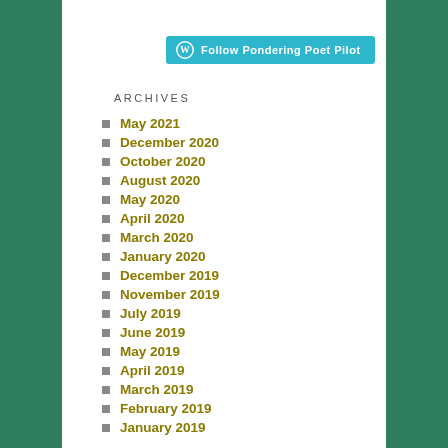[Figure (other): WordPress Follow button - 'Follow Pondering Poet Pilot' in teal/cyan color with WordPress logo]
ARCHIVES
May 2021
December 2020
October 2020
August 2020
May 2020
April 2020
March 2020
January 2020
December 2019
November 2019
July 2019
June 2019
May 2019
April 2019
March 2019
February 2019
January 2019